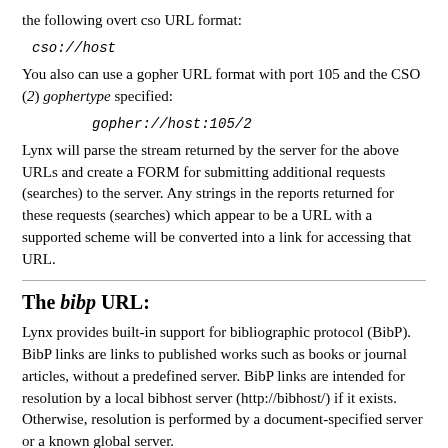the following overt cso URL format:
cso://host
You also can use a gopher URL format with port 105 and the CSO (2) gophertype specified:
gopher://host:105/2
Lynx will parse the stream returned by the server for the above URLs and create a FORM for submitting additional requests (searches) to the server. Any strings in the reports returned for these requests (searches) which appear to be a URL with a supported scheme will be converted into a link for accessing that URL.
The bibp URL:
Lynx provides built-in support for bibliographic protocol (BibP). BibP links are links to published works such as books or journal articles, without a predefined server. BibP links are intended for resolution by a local bibhost server (http://bibhost/) if it exists. Otherwise, resolution is performed by a document-specified server or a known global server.